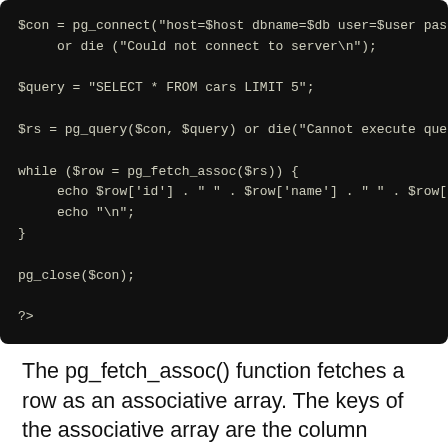[Figure (screenshot): Dark-background code block showing PHP code: pg_connect, pg_query, pg_fetch_assoc loop, pg_close, and closing PHP tag]
The pg_fetch_assoc() function fetches a row as an associative array. The keys of the associative array are the column names.